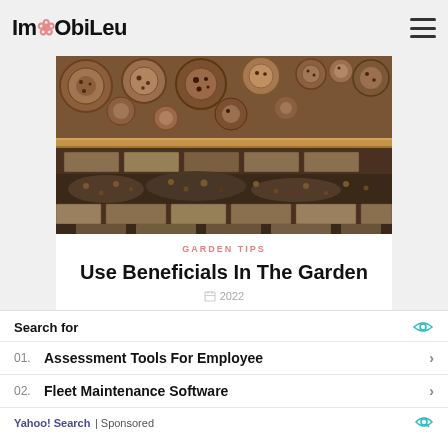ImObiLeu
[Figure (photo): Close-up photo of an insect hotel / bee hotel made of stacked logs with holes, bricks, and natural materials arranged in rows on wooden shelves]
GARDEN TIPS
Use Beneficials In The Garden
2022
Shelter for beneficial insects If you no longer
Search for
01. Assessment Tools For Employee
02. Fleet Maintenance Software
Yahoo! Search | Sponsored